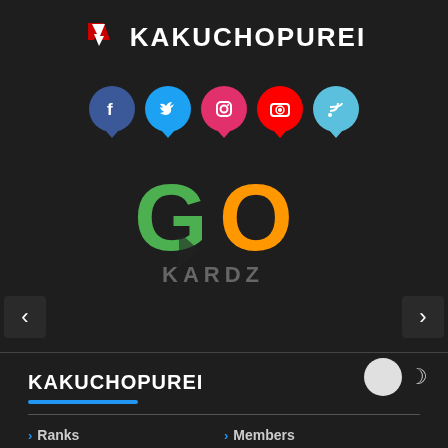KAKUCHOPUREI
[Figure (logo): Kakuchopurei logo with red/white Japanese katakana icon and white bold text KAKUCHOPUREI]
[Figure (infographic): Row of 5 social media bubble icons: Facebook (blue), Twitter (blue), Instagram (pink), YouTube (red), RSS (light blue), each with speech bubble tail]
[Figure (logo): GO KARDZ logo with green G and orange O letters interlocked, and gray KARDZ text below]
[Figure (infographic): Carousel navigation with left < and right > arrow buttons on dark background]
KAKUCHOPUREI
Ranks
Members
Credits
Activity